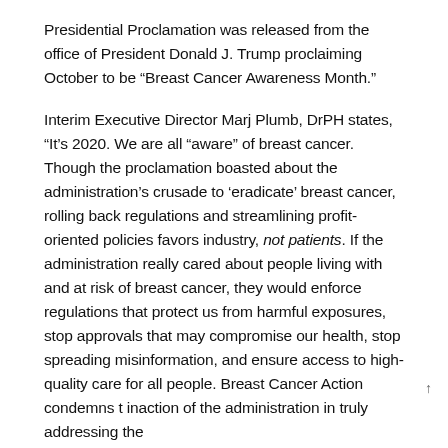Presidential Proclamation was released from the office of President Donald J. Trump proclaiming October to be “Breast Cancer Awareness Month.”
Interim Executive Director Marj Plumb, DrPH states, “It’s 2020. We are all “aware” of breast cancer. Though the proclamation boasted about the administration’s crusade to ‘eradicate’ breast cancer, rolling back regulations and streamlining profit-oriented policies favors industry, not patients. If the administration really cared about people living with and at risk of breast cancer, they would enforce regulations that protect us from harmful exposures, stop approvals that may compromise our health, stop spreading misinformation, and ensure access to high-quality care for all people. Breast Cancer Action condemns t inaction of the administration in truly addressing the